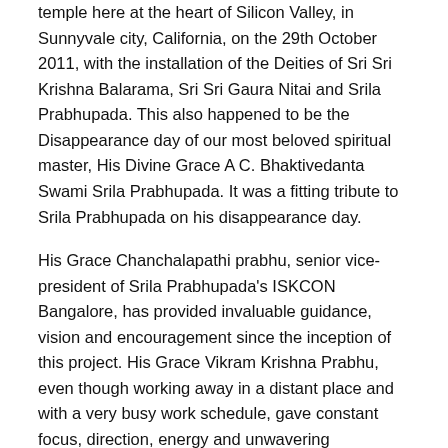temple here at the heart of Silicon Valley, in Sunnyvale city, California, on the 29th October 2011, with the installation of the Deities of Sri Sri Krishna Balarama, Sri Sri Gaura Nitai and Srila Prabhupada. This also happened to be the Disappearance day of our most beloved spiritual master, His Divine Grace A C. Bhaktivedanta Swami Srila Prabhupada. It was a fitting tribute to Srila Prabhupada on his disappearance day.
His Grace Chanchalapathi prabhu, senior vice-president of Srila Prabhupada's ISKCON Bangalore, has provided invaluable guidance, vision and encouragement since the inception of this project. His Grace Vikram Krishna Prabhu, even though working away in a distant place and with a very busy work schedule, gave constant focus, direction, energy and unwavering commitment for this project to happen.